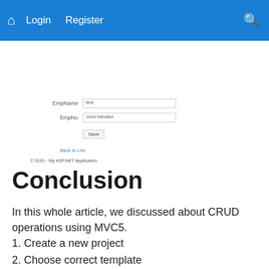Login   Register
[Figure (screenshot): A web form screenshot showing fields EmpName (value: test) and EmpNo (value: John Minator), a Save button, a Back to List link, and a footer copyright line '© 2015 - My ASP.NET Application']
Conclusion
In this whole article, we discussed about CRUD operations using MVC5.
1. Create a new project
2. Choose correct template
3. Add Controller
4. Add view using Scaffoldings
5. Add various operations
Hope, you find this article helpful.